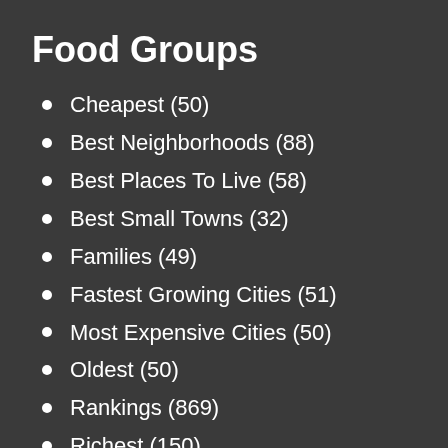Food Groups
Cheapest (50)
Best Neighborhoods (88)
Best Places To Live (58)
Best Small Towns (32)
Families (49)
Fastest Growing Cities (51)
Most Expensive Cities (50)
Oldest (50)
Rankings (869)
Richest (150)
Fun Stuff
About Us